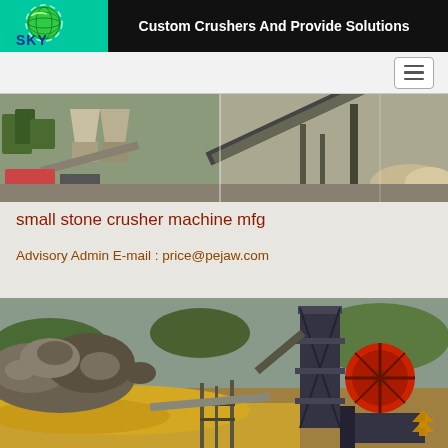Custom Crushers And Provide Solutions
[Figure (logo): SKY company logo with globe icon on green/teal background]
[Figure (photo): Hero banner showing industrial stone crushing machinery and conveyor belts at a quarry site]
small stone crusher machine mfg
Advisory Admin E-mail : price@pejaw.com
[Figure (photo): Stone crusher machine at a quarry with large rocks, conveyor belt structure and red flywheel visible]